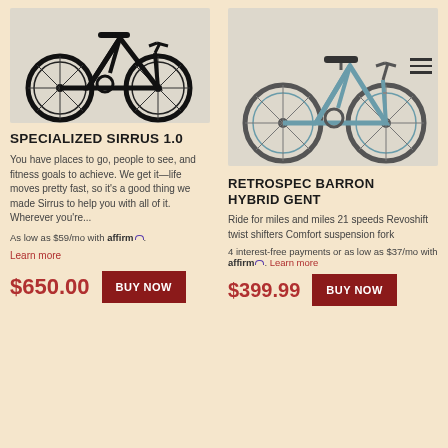[Figure (photo): Black Specialized Sirrus 1.0 hybrid/fitness bike on light background]
SPECIALIZED SIRRUS 1.0
You have places to go, people to see, and fitness goals to achieve. We get it—life moves pretty fast, so it's a good thing we made Sirrus to help you with all of it. Wherever you're...
As low as $59/mo with affirm. Learn more
$650.00
BUY NOW
[Figure (photo): Blue/teal Retrospec Barron Hybrid Gent bicycle on light background]
RETROSPEC BARRON HYBRID GENT
Ride for miles and miles 21 speeds Revoshift twist shifters Comfort suspension fork
4 interest-free payments or as low as $37/mo with affirm. Learn more
$399.99
BUY NOW